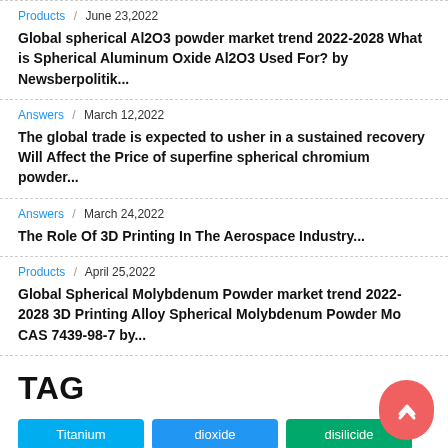Products / June 23,2022
Global spherical Al2O3 powder market trend 2022-2028 What is Spherical Aluminum Oxide Al2O3 Used For? by Newsberpolitik...
Answers / March 12,2022
The global trade is expected to usher in a sustained recovery Will Affect the Price of superfine spherical chromium powder...
Answers / March 24,2022
The Role Of 3D Printing In The Aerospace Industry...
Products / April 25,2022
Global Spherical Molybdenum Powder market trend 2022-2028 3D Printing Alloy Spherical Molybdenum Powder Mo CAS 7439-98-7 by...
TAG
Titanium dioxide disilicide